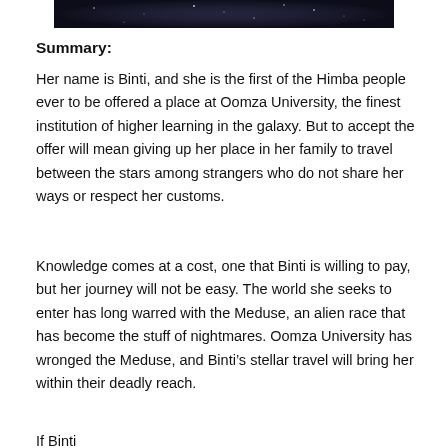[Figure (photo): Dark image strip at the top of the page, appearing to show a night sky or dark scene]
Summary:
Her name is Binti, and she is the first of the Himba people ever to be offered a place at Oomza University, the finest institution of higher learning in the galaxy. But to accept the offer will mean giving up her place in her family to travel between the stars among strangers who do not share her ways or respect her customs.
Knowledge comes at a cost, one that Binti is willing to pay, but her journey will not be easy. The world she seeks to enter has long warred with the Meduse, an alien race that has become the stuff of nightmares. Oomza University has wronged the Meduse, and Binti’s stellar travel will bring her within their deadly reach.
If Binti...